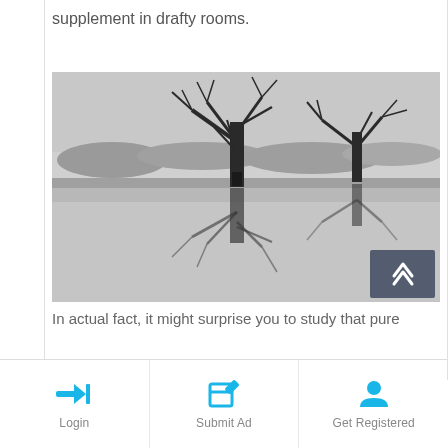supplement in drafty rooms.
[Figure (photo): Black and white photograph of two bare trees reflected in still flood water, with treeline visible in background.]
In actual fact, it might surprise you to study that pure
Login | Submit Ad | Get Registered